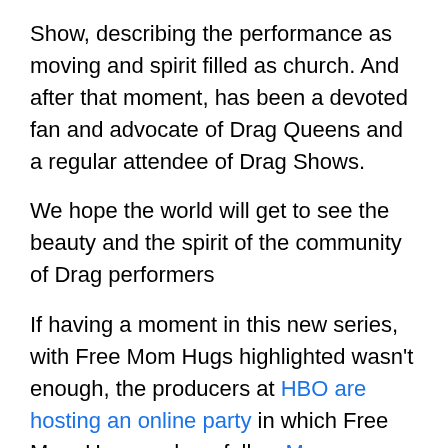Show, describing the performance as moving and spirit filled as church. And after that moment, has been a devoted fan and advocate of Drag Queens and a regular attendee of Drag Shows.
We hope the world will get to see the beauty and the spirit of the community of Drag performers
If having a moment in this new series, with Free Mom Hugs highlighted wasn't enough, the producers at HBO are hosting an online party in which Free Mom Hugs and our fellow Mama Dragons will be mentioned. In the pre-show the folks who are participating will be mentioning our missions and encouraging donations to further our missions. And HBO is really coming through for all of us by [Help button] this beyond their paywall. You can watch it via HBO's